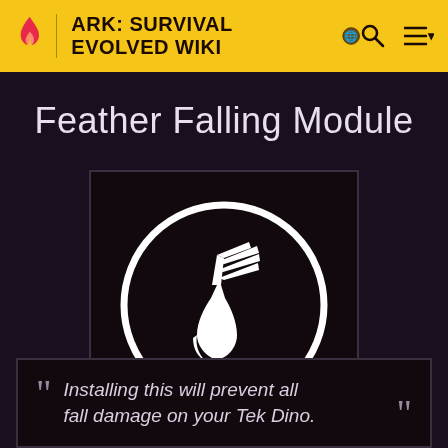ARK: SURVIVAL EVOLVED WIKI
Feather Falling Module
[Figure (illustration): Feather Falling Module icon: a winged foot/sandal in white silhouette inside a white circle outline, on dark background]
Installing this will prevent all fall damage on your Tek Dino.